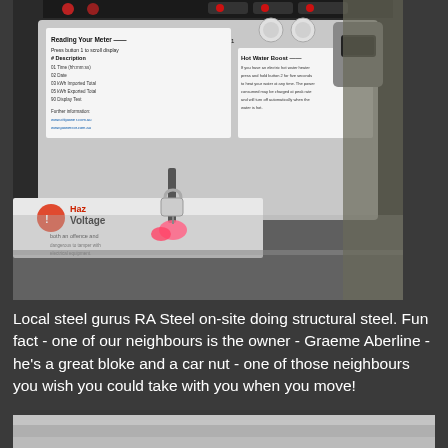[Figure (photo): Close-up photograph of an electrical smart meter box, showing a label with 'Reading Your Meter' instructions, buttons, a display port, and a yellow padlock/key hanging from a latch. A 'Hazardous Voltage' warning sticker is partially visible at the bottom left.]
Local steel gurus RA Steel on-site doing structural steel. Fun fact - one of our neighbours is the owner - Graeme Aberline - he's a great bloke and a car nut - one of those neighbours you wish you could take with you when you move!
[Figure (photo): Partial view of a second photograph, showing a grey/silver surface, likely a construction or steel-related scene.]